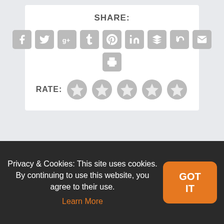SHARE:
[Figure (infographic): Row of social share icon buttons: Facebook, Twitter, Google+, Tumblr, Pinterest, LinkedIn, Buffer, StumbleUpon, Email, and a Print button on a second row. All icons are gray rounded square buttons with white symbols.]
RATE:
[Figure (infographic): Five gray star rating icons in a row.]
< PREVIOUS
NEXT >
Media Blasters To
Netflix Licenses Blame!
Privacy & Cookies: This site uses cookies. By continuing to use this website, you agree to their use. Learn More
GOT IT